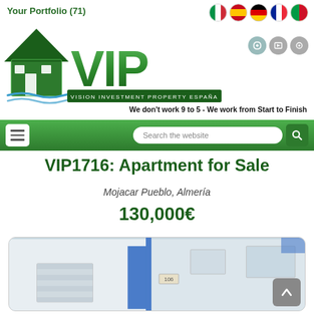Your Portfolio (71)
[Figure (logo): VIP - Vision Investment Property España logo, green with house icon]
We don't work 9 to 5 - We work from Start to Finish
VIP1716: Apartment for Sale
Mojacar Pueblo, Almería
130,000€
[Figure (photo): Exterior photo of a white apartment building with blue door and window shutters, numbered 106]